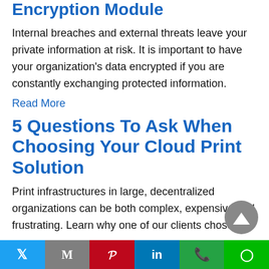Encryption Module
Internal breaches and external threats leave your private information at risk. It is important to have your organization's data encrypted if you are constantly exchanging protected information.
Read More
5 Questions To Ask When Choosing Your Cloud Print Solution
Print infrastructures in large, decentralized organizations can be both complex, expensive and frustrating. Learn why one of our clients chose
Twitter | Gmail | Pinterest | LinkedIn | WhatsApp | Line